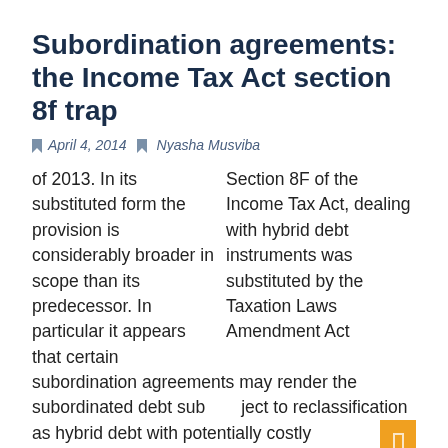Subordination agreements: the Income Tax Act section 8f trap
April 4, 2014  Nyasha Musviba
Section 8F of the Income Tax Act, dealing with hybrid debt instruments was substituted by the Taxation Laws Amendment Act of 2013. In its substituted form the provision is considerably broader in scope than its predecessor. In particular it appears that certain subordination agreements may render the subordinated debt subject to reclassification as hybrid debt with potentially costly